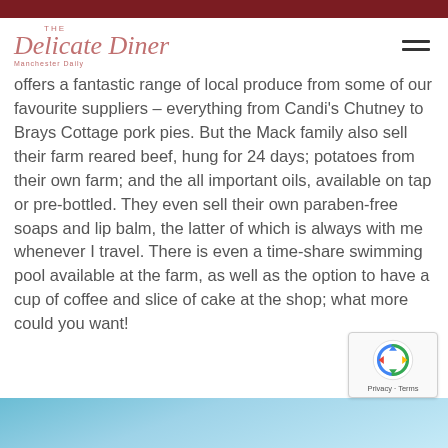The Delicate Diner
offers a fantastic range of local produce from some of our favourite suppliers – everything from Candi's Chutney to Brays Cottage pork pies. But the Mack family also sell their farm reared beef, hung for 24 days; potatoes from their own farm; and the all important oils, available on tap or pre-bottled. They even sell their own paraben-free soaps and lip balm, the latter of which is always with me whenever I travel. There is even a time-share swimming pool available at the farm, as well as the option to have a cup of coffee and slice of cake at the shop; what more could you want!
[Figure (photo): Blue sky with clouds, partial view at the bottom of the page]